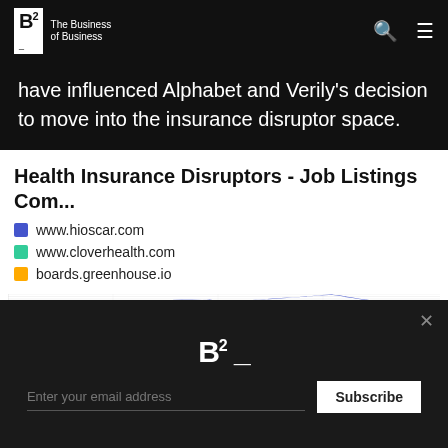B2 The Business of Business
have influenced Alphabet and Verily's decision to move into the insurance disruptor space.
Health Insurance Disruptors - Job Listings Com...
www.hioscar.com
www.cloverhealth.com
boards.greenhouse.io
[Figure (line-chart): Line chart showing job listing trends for www.hioscar.com (blue), www.cloverhealth.com (teal/green), and boards.greenhouse.io (yellow/orange). The chart shows a prominent peak for one of the series (blue) toward the right side, with smaller bumps visible in the middle portion.]
Enter your email address
Subscribe